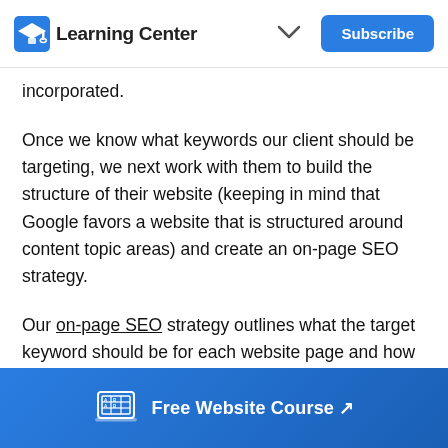Learning Center  Subscribe
incorporated.
Once we know what keywords our client should be targeting, we next work with them to build the structure of their website (keeping in mind that Google favors a website that is structured around content topic areas) and create an on-page SEO strategy.
Our on-page SEO strategy outlines what the target keyword should be for each website page and how it should be linked with major content pillars (which will live as resources and blog posts).
Free Website Course ↗